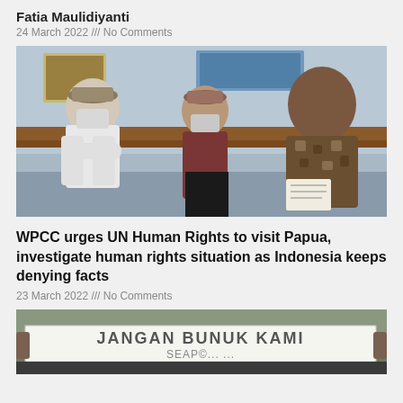Fatia Maulidiyanti
24 March 2022 /// No Comments
[Figure (photo): Three people seated on a bench in an indoor setting. A man in a white jacket with arms crossed on the left, a person in a red shirt with a mask in the center, and a man in a patterned brown shirt holding papers on the right.]
WPCC urges UN Human Rights to visit Papua, investigate human rights situation as Indonesia keeps denying facts
23 March 2022 /// No Comments
[Figure (photo): People holding a white banner that reads 'JANGAN BUNUH KAMI' with additional text partially visible below.]